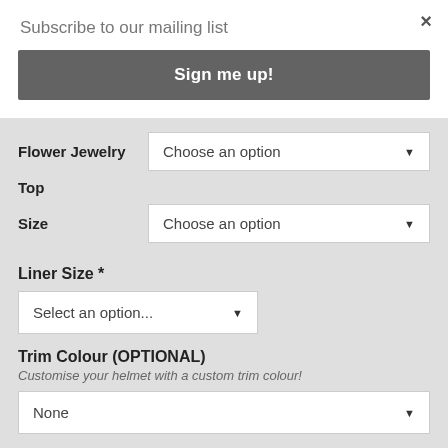×
Subscribe to our mailing list
Sign me up!
Flower Jewelry
Choose an option
Top
Size
Choose an option
Liner Size *
Select an option...
Trim Colour (OPTIONAL)
Customise your helmet with a custom trim colour!
None
Blazon Colour (OPTIONAL)